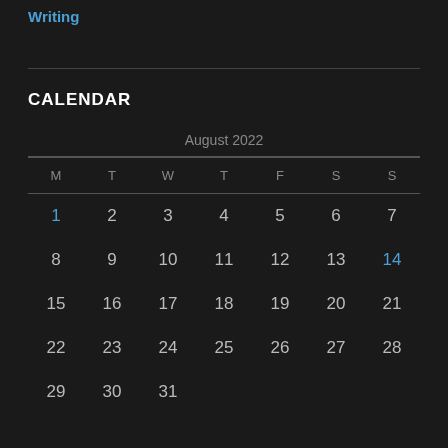Writing
CALENDAR
| M | T | W | T | F | S | S |
| --- | --- | --- | --- | --- | --- | --- |
| 1 | 2 | 3 | 4 | 5 | 6 | 7 |
| 8 | 9 | 10 | 11 | 12 | 13 | 14 |
| 15 | 16 | 17 | 18 | 19 | 20 | 21 |
| 22 | 23 | 24 | 25 | 26 | 27 | 28 |
| 29 | 30 | 31 |  |  |  |  |